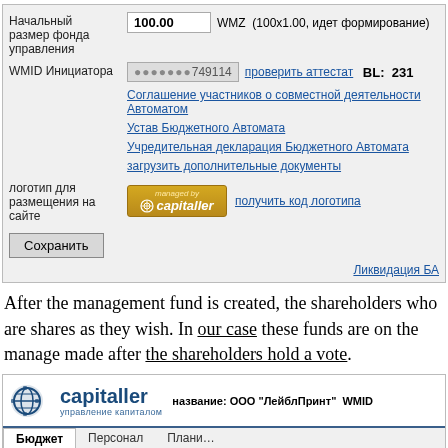[Figure (screenshot): Russian-language web form for management fund setup. Fields: 'Начальный размер фонда управления' with value '100.00 WMZ (100х1.00, идет формирование)', 'WMID Инициатора' with masked value '***749114', link 'проверить аттестат', 'BL: 231'. Links: 'Соглашение участников о совместной деятельности Автоматом', 'Устав Бюджетного Автомата', 'Учредительная декларация Бюджетного Автомата', 'загрузить дополнительные документы'. Logo 'managed by capitaller' with link 'получить код логотипа'. Button 'Сохранить'. Link 'Ликвидация БА'.]
After the management fund is created, the shareholders who are admitted can dispose of their shares as they wish. In our case these funds are on the management account, and all decisions are made after the shareholders hold a vote.
[Figure (screenshot): Bottom screenshot showing Capitaller website header with logo (gear/globe icon, 'capitaller управление капиталом'), text 'название: ООО "ЛейблПринт" WMID ...', navigation tabs: 'Бюджет' (active), 'Персонал', 'Плани...', and a row with WMID '...749114' and a button.]